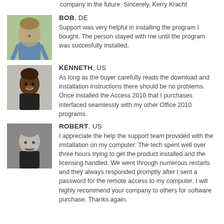company in the future. Sincerely, Kerry Kracht
[Figure (photo): Portrait photo of Bob, older man in blue shirt outdoors]
BOB, DE
Support was very helpful in installing the program I bought. The person stayed with me until the program was succesfully installed.
[Figure (photo): Portrait photo of Kenneth, young Black man smiling]
KENNETH, US
As long as the buyer carefully reads the download and installation instructions there should be no problems. Once installed the Access 2010 that I purchases interfaced seamlessly with my other Office 2010 programs.
[Figure (photo): Portrait photo of Robert, middle-aged man with mustache, black and white photo]
ROBERT, US
I appreciate the help the support team provided with the installation on my computer. The tech spent well over three hours trying to get the product installed and the licensing handled. We went through numerous restarts and they always responded promptly after I sent a password for the remote access to my computer. I will highly recommend your company to others for software purchase. Thanks again.